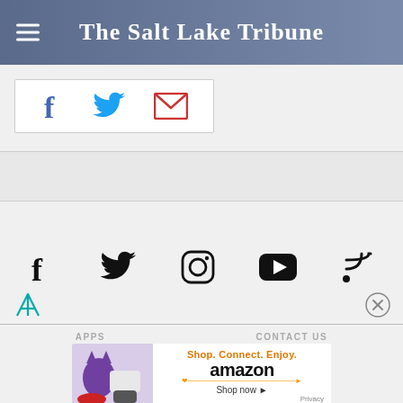The Salt Lake Tribune
[Figure (infographic): Social share bar with Facebook, Twitter, and email icons in a bordered white box]
[Figure (infographic): Gray advertisement placeholder strip]
[Figure (infographic): Social media icons row: Facebook, Twitter, Instagram, YouTube, RSS]
[Figure (infographic): Filter icon (teal) on left and close/X icon on right]
APPS
CONTACT US
[Figure (infographic): Amazon advertisement banner: Shop. Connect. Enjoy. Shop now with Amazon logo and smile]
ABOUT US   PRIVACY POLICY